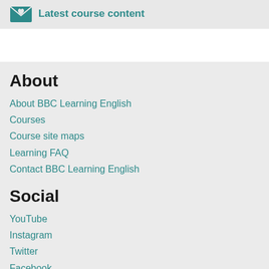Latest course content
About
About BBC Learning English
Courses
Course site maps
Learning FAQ
Contact BBC Learning English
Social
YouTube
Instagram
Twitter
Facebook
Social media house rules